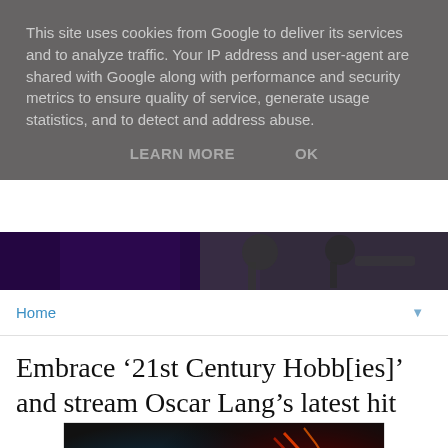This site uses cookies from Google to deliver its services and to analyze traffic. Your IP address and user-agent are shared with Google along with performance and security metrics to ensure quality of service, generate usage statistics, and to detect and address abuse.
LEARN MORE    OK
[Figure (photo): Dark banner header with black and white photo of musicians/performers with purple lighting]
Home ▼
Embrace '21st Century Hobb[ies]' and stream Oscar Lang's latest hit
[Figure (photo): Colorful swirling light streams with a person partially visible, red and teal color scheme]